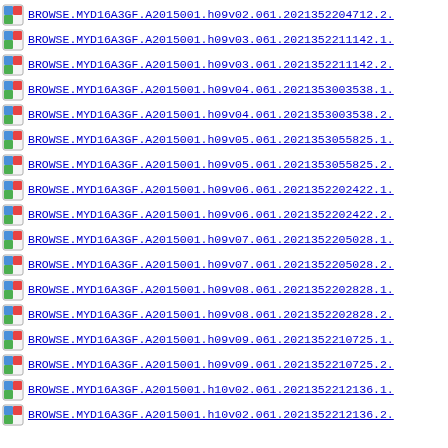BROWSE.MYD16A3GF.A2015001.h09v02.061.2021352204712.2.
BROWSE.MYD16A3GF.A2015001.h09v03.061.2021352211142.1.
BROWSE.MYD16A3GF.A2015001.h09v03.061.2021352211142.2.
BROWSE.MYD16A3GF.A2015001.h09v04.061.2021353003538.1.
BROWSE.MYD16A3GF.A2015001.h09v04.061.2021353003538.2.
BROWSE.MYD16A3GF.A2015001.h09v05.061.2021353055825.1.
BROWSE.MYD16A3GF.A2015001.h09v05.061.2021353055825.2.
BROWSE.MYD16A3GF.A2015001.h09v06.061.2021352202422.1.
BROWSE.MYD16A3GF.A2015001.h09v06.061.2021352202422.2.
BROWSE.MYD16A3GF.A2015001.h09v07.061.2021352205028.1.
BROWSE.MYD16A3GF.A2015001.h09v07.061.2021352205028.2.
BROWSE.MYD16A3GF.A2015001.h09v08.061.2021352202828.1.
BROWSE.MYD16A3GF.A2015001.h09v08.061.2021352202828.2.
BROWSE.MYD16A3GF.A2015001.h09v09.061.2021352210725.1.
BROWSE.MYD16A3GF.A2015001.h09v09.061.2021352210725.2.
BROWSE.MYD16A3GF.A2015001.h10v02.061.2021352212136.1.
BROWSE.MYD16A3GF.A2015001.h10v02.061.2021352212136.2.